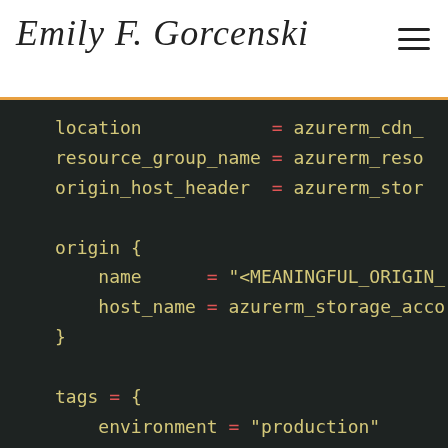Emily F. Gorcenski
[Figure (screenshot): Code block showing Terraform/HCL configuration with dark background. Contains fields: location, resource_group_name, origin_host_header, an origin block with name and host_name, a tags block with environment and purpose, and a delivery_rule block beginning.]